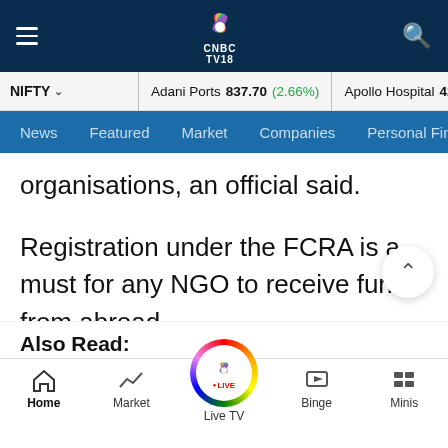CNBC TV18 navigation bar with hamburger menu, CNBC TV18 logo, and search icon
NIFTY  Adani Ports 837.70 (2.66%)  Apollo Hospital 4215.25 (1.1...)
News  Featured  Market  Companies  Personal Finance
organisations, an official said.
Registration under the FCRA is a must for any NGO to receive funds from abroad.
Also Read: